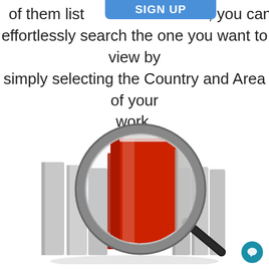[Figure (illustration): Blue 'SIGN UP' button partially visible at top of page]
of them list rs, you can effortlessly search the one you want to view by simply selecting the Country and Area of your work.
[Figure (illustration): 3D illustration of grey and red books/folders being searched with a magnifying glass]
[Figure (other): Small teal circular chat button in bottom right corner]